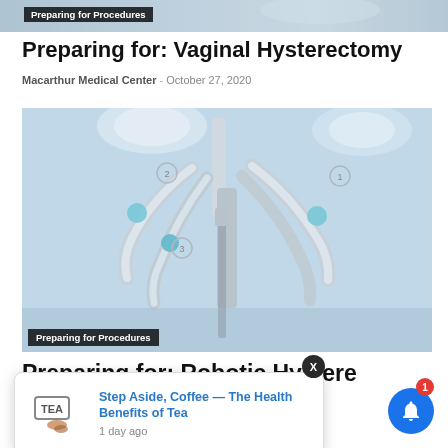[Figure (photo): Partial top image strip showing a medical/consultation scene with caption 'Preparing for Procedures']
Preparing for Procedures
Preparing for: Vaginal Hysterectomy
Macarthur Medical Center - October 27, 2020
[Figure (photo): Robotic surgical arms in an operating room with multiple articulated robot arms holding surgical instruments, under bright surgical lights]
Preparing for Procedures
Preparing for: Robotic Hysterectomy
[Figure (infographic): Notification popup overlay showing tea cup logo and text 'Step Aside, Coffee — The Health Benefits of Tea' with timestamp '1 day ago']
Step Aside, Coffee — The Health Benefits of Tea
1 day ago